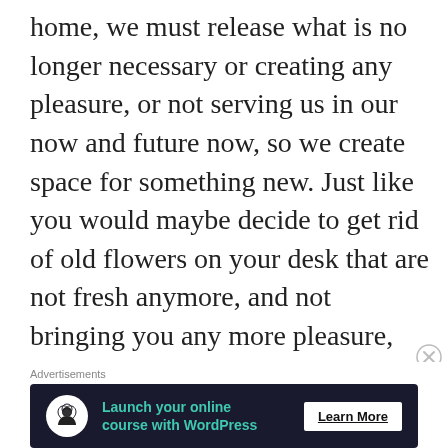home, we must release what is no longer necessary or creating any pleasure, or not serving us in our now and future now, so we create space for something new. Just like you would maybe decide to get rid of old flowers on your desk that are not fresh anymore, and not bringing you any more pleasure, and maybe even leaving lots of little dry leaves all over the desk. Have you ever seen someone leaving such vase with flowers like this way longer than they could have been there not
[Figure (other): Advertisement banner: dark navy background with tree/person icon, green text 'Launch your online course with WordPress', and 'Learn More' button. A close (X) button appears at top right.]